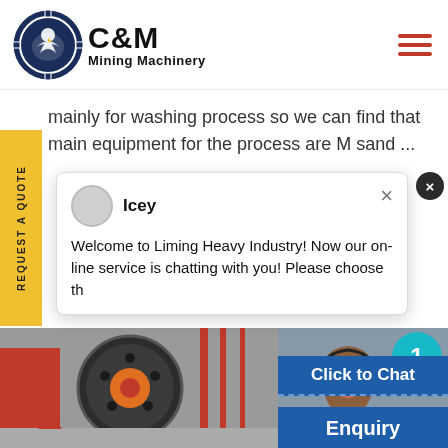[Figure (logo): C&M Mining Machinery logo with eagle/gear icon in navy blue, company name in bold black text]
mainly for washing process so we can find that main equipment for the process are M sand ...
[Figure (screenshot): Chat popup from Liming Heavy Industry with avatar named Icey, message: Welcome to Liming Heavy Industry! Now our on-line service is chatting with you! Please choose th...]
[Figure (photo): Industrial mining machinery - large circular metal crusher/wheel component in red and black, industrial facility in background]
[Figure (photo): Customer support agent - woman with headset smiling, with blue circle badge showing number 1]
Click to Chat
Enquiry